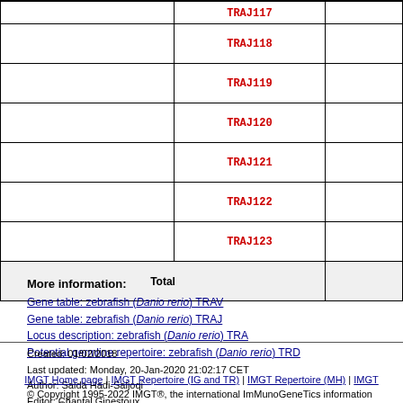|  | Gene |  |
| --- | --- | --- |
|  | TRAJ117 |  |
|  | TRAJ118 |  |
|  | TRAJ119 |  |
|  | TRAJ120 |  |
|  | TRAJ121 |  |
|  | TRAJ122 |  |
|  | TRAJ123 |  |
|  | Total |  |
More information:
Gene table: zebrafish (Danio rerio) TRAV
Gene table: zebrafish (Danio rerio) TRAJ
Locus description: zebrafish (Danio rerio) TRA
Potential germline repertoire: zebrafish (Danio rerio) TRD
Created: 01/02/2018
Last updated: Monday, 20-Jan-2020 21:02:17 CET
Author: Saida Hadi-Saljoqi
Editor: Chantal Ginestoux
IMGT Home page | IMGT Repertoire (IG and TR) | IMGT Repertoire (MH) | IMGT
© Copyright 1995-2022 IMGT®, the international ImMunoGeneTics information system® | I